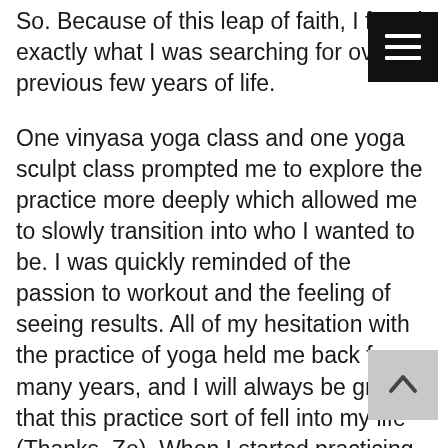So. Because of this leap of faith, I found exactly what I was searching for over the previous few years of life.
One vinyasa yoga class and one yoga sculpt class prompted me to explore the practice more deeply which allowed me to slowly transition into who I wanted to be. I was quickly reminded of the passion to workout and the feeling of seeing results. All of my hesitation with the practice of yoga held me back for so many years, and I will always be grateful that this practice sort of fell into my life (Thanks, Zo). When I started practicing regularly, I was able to pay more attention and stay focused, was